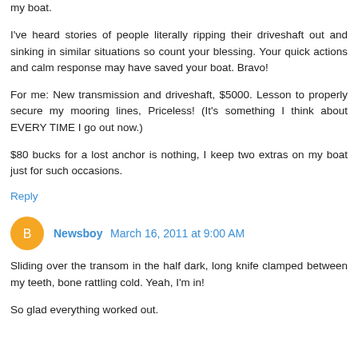my boat.
I've heard stories of people literally ripping their driveshaft out and sinking in similar situations so count your blessing. Your quick actions and calm response may have saved your boat. Bravo!
For me: New transmission and driveshaft, $5000. Lesson to properly secure my mooring lines, Priceless! (It's something I think about EVERY TIME I go out now.)
$80 bucks for a lost anchor is nothing, I keep two extras on my boat just for such occasions.
Reply
Newsboy  March 16, 2011 at 9:00 AM
Sliding over the transom in the half dark, long knife clamped between my teeth, bone rattling cold. Yeah, I'm in!
So glad everything worked out.